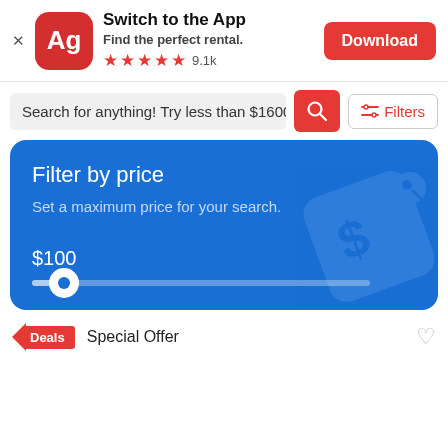[Figure (screenshot): App banner with Ag logo icon, Switch to the App text, Find the perfect rental, 5 stars 9.1k rating, Download button]
Search for anything! Try less than $1600 and
[Figure (infographic): Blue card: Filter by price. Set a maximum price for your search. $100 slider at minimum position.]
Deals  Special Offer